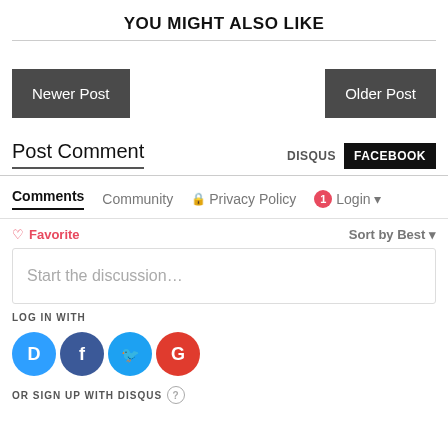YOU MIGHT ALSO LIKE
Newer Post
Older Post
Post Comment
DISQUS  FACEBOOK
Comments  Community  Privacy Policy  1  Login
Favorite  Sort by Best
Start the discussion…
LOG IN WITH
OR SIGN UP WITH DISQUS ?